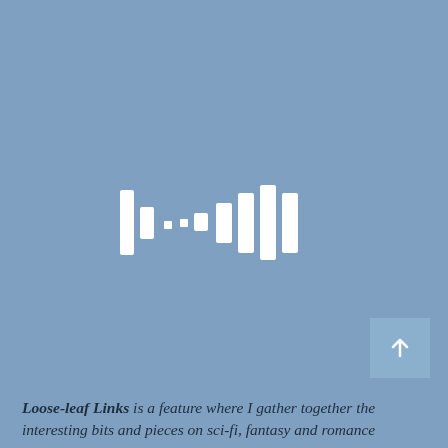[Figure (illustration): White audio/sound wave bars icon on blue-grey background, resembling a Spotify or podcast audio waveform logo — consisting of vertical bars of varying heights arranged to look like an audio waveform with two groups of bars separated by dots]
[Figure (illustration): Small square button with upward arrow (scroll-to-top button) in slightly lighter blue, positioned in lower right corner]
Loose-leaf Links is a feature where I gather together the interesting bits and pieces on sci-fi, fantasy and romance